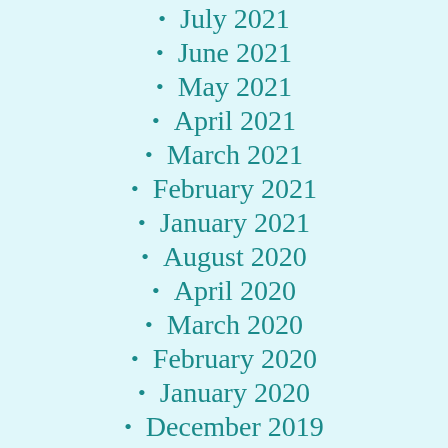July 2021
June 2021
May 2021
April 2021
March 2021
February 2021
January 2021
August 2020
April 2020
March 2020
February 2020
January 2020
December 2019
November 2019
October 2019
September 2019